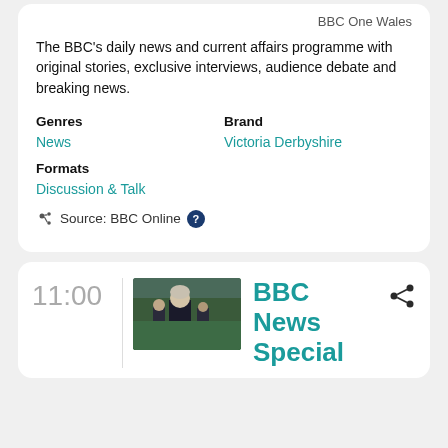BBC One Wales
The BBC's daily news and current affairs programme with original stories, exclusive interviews, audience debate and breaking news.
Genres
News
Brand
Victoria Derbyshire
Formats
Discussion & Talk
Source: BBC Online
11:00
[Figure (photo): Thumbnail image showing a woman in a dark jacket seated in what appears to be the UK Parliament chamber, with other people visible behind her.]
BBC News Special